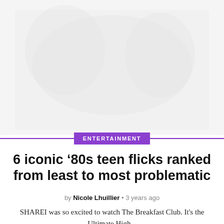[Figure (photo): Faded/washed-out background image, appears to be a still from an 80s teen film, mostly white/light gray tones]
ENTERTAINMENT
6 iconic ’80s teen flicks ranked from least to most problematic
by Nicole Lhuillier • 3 years ago
SHAREI was so excited to watch The Breakfast Club. It’s the Ultimate High...